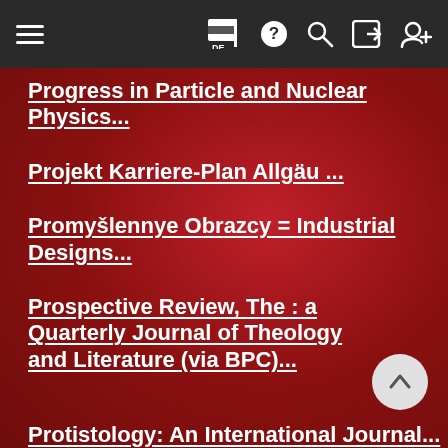Navigation bar with hamburger menu, flag/DE, help, search, login, register icons
Progress in Particle and Nuclear Physics...
Projekt Karriere-Plan Allgäu ...
Promyšlennye Obrazcy = Industrial Designs...
Prospective Review, The : a Quarterly Journal of Theology and Literature (via BPC)...
Protistology: An International Journal...